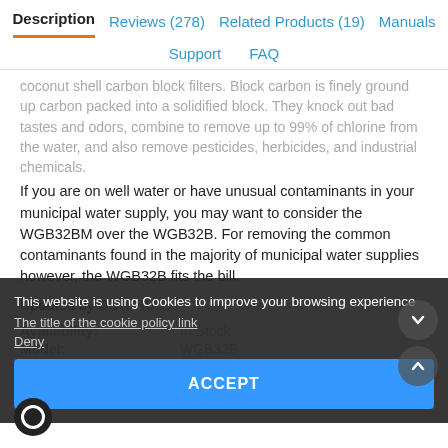Description | Reviews (278) | Related Products (19) | Manuals | Support | FAQ
...coconut shell carbon block filters. Block carbon is finely ground up carbon packed into a solidified block. They knock out bad tastes and odors, combine to remove up to 99% of chlorine from the water, and also remove pesticides, herbicides, and industrial chemicals.
If you are on well water or have unusual contaminants in your municipal water supply, you may want to consider the WGB32BM over the WGB32B. For removing the common contaminants found in the majority of municipal water supplies however, the WGB32B fits the bill.
Updated by DON HUIE
Availability: In Stock
Model: WGB32B
Manufacturer: iSpring
This website is using Cookies to improve your browsing experience
The title of the cookie policy link
Deny
ACCEPT